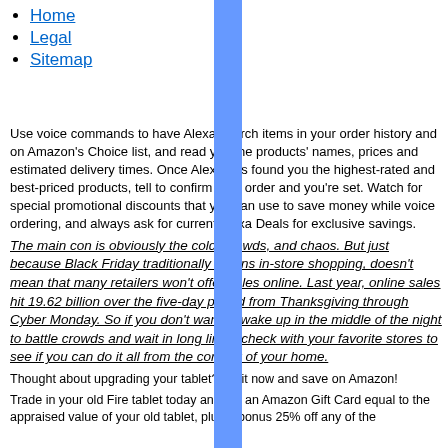Home
Legal
Sitemap
Use voice commands to have Alexa search items in your order history and on Amazon's Choice list, and read you the products' names, prices and estimated delivery times. Once Alexa has found you the highest-rated and best-priced products, tell to confirm your order and you're set. Watch for special promotional discounts that you can use to save money while voice ordering, and always ask for current Alexa Deals for exclusive savings.
The main con is obviously the cold, crowds, and chaos. But just because Black Friday traditionally means in-store shopping, doesn't mean that many retailers won't offer sales online. Last year, online sales hit 19.62 billion over the five-day period from Thanksgiving through Cyber Monday. So if you don't want to wake up in the middle of the night to battle crowds and wait in long lines, check with your favorite stores to see if you can do it all from the comfort of your home.
Thought about upgrading your tablet? Do it now and save on Amazon!
Trade in your old Fire tablet today and get an Amazon Gift Card equal to the appraised value of your old tablet, plus a bonus 25% off any of the